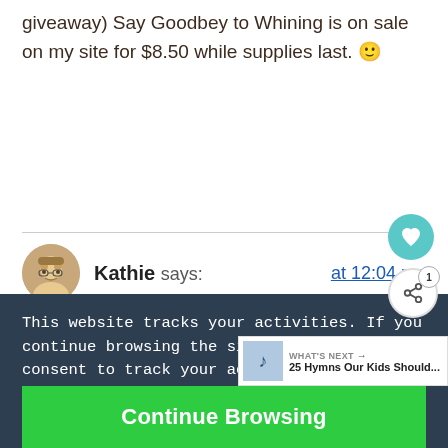giveaway) Say Goodbey to Whining is on sale on my site for $8.50 while supplies last. 🙂
Kathie says: at 12:04 pm
Just a heads up if you don't win the
This website tracks your activities. If you continue browsing the site, you're giving us consent to track your activity.
Continue Browsing
WHAT'S NEXT → 25 Hymns Our Kids Should...